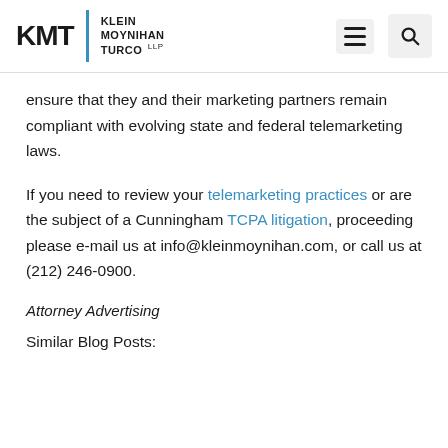KMT | KLEIN MOYNIHAN TURCO LLP
ensure that they and their marketing partners remain compliant with evolving state and federal telemarketing laws.
If you need to review your telemarketing practices or are the subject of a Cunningham TCPA litigation, proceeding please e-mail us at info@kleinmoynihan.com, or call us at (212) 246-0900.
Attorney Advertising
Similar Blog Posts: